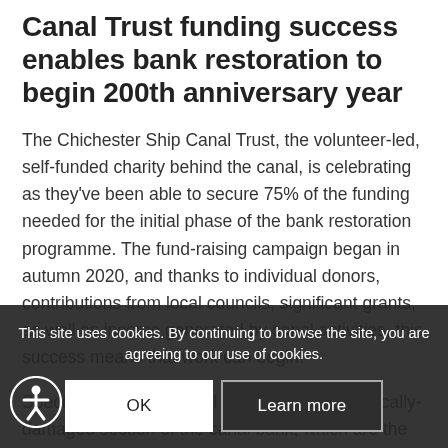Canal Trust funding success enables bank restoration to begin 200th anniversary year
The Chichester Ship Canal Trust, the volunteer-led, self-funded charity behind the canal, is celebrating as they've been able to secure 75% of the funding needed for the initial phase of the bank restoration programme. The fund-raising campaign began in autumn 2020, and thanks to individual donors, contributions from local councils, significant grants, as well as income generated by canal activities, this success means that work can begin.
Specialist contractors will restore the most critically-damaged section of the canal bank, which are the very foundations of the canal, underpinning the towpath used by so many people, keeping the waterway safe and managing water flow. The stretch to be restored runs from approximately 300m south of the steps to the Canal
This site uses cookies. By continuing to browse the site, you are agreeing to our use of cookies.